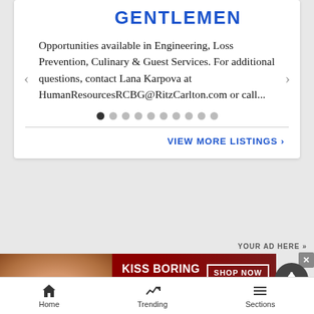GENTLEMEN
Opportunities available in Engineering, Loss Prevention, Culinary & Guest Services. For additional questions, contact Lana Karpova at HumanResourcesRCBG@RitzCarlton.com or call...
VIEW MORE LISTINGS ›
YOUR AD HERE »
[Figure (photo): Macy's advertisement banner: woman with red lips, text 'KISS BORING LIPS GOODBYE', 'SHOP NOW', and Macy's star logo]
Home   Trending   Sections